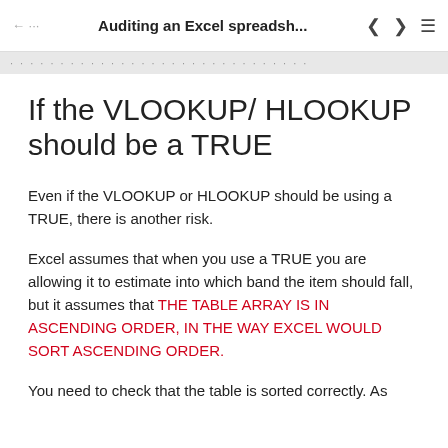Auditing an Excel spreadsh...
If the VLOOKUP/ HLOOKUP should be a TRUE
Even if the VLOOKUP or HLOOKUP should be using a TRUE, there is another risk.
Excel assumes that when you use a TRUE you are allowing it to estimate into which band the item should fall, but it assumes that THE TABLE ARRAY IS IN ASCENDING ORDER, IN THE WAY EXCEL WOULD SORT ASCENDING ORDER.
You need to check that the table is sorted correctly. As